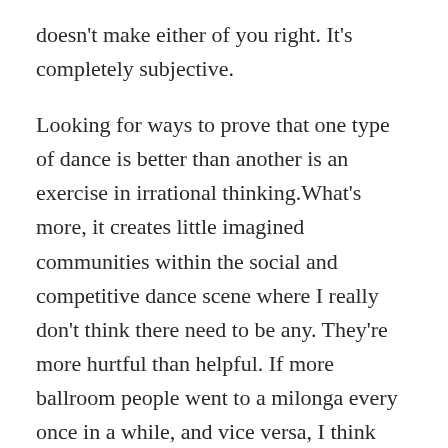doesn't make either of you right. It's completely subjective.
Looking for ways to prove that one type of dance is better than another is an exercise in irrational thinking.What's more, it creates little imagined communities within the social and competitive dance scene where I really don't think there need to be any. They're more hurtful than helpful. If more ballroom people went to a milonga every once in a while, and vice versa, I think we'd all understand and value each other a little more.
We're all dancers and we're all here because of an